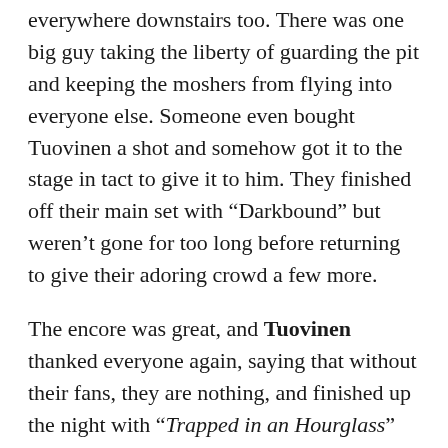everywhere downstairs too. There was one big guy taking the liberty of guarding the pit and keeping the moshers from flying into everyone else. Someone even bought Tuovinen a shot and somehow got it to the stage in tact to give it to him. They finished off their main set with “Darkbound” but weren’t gone for too long before returning to give their adoring crowd a few more.
The encore was great, and Tuovinen thanked everyone again, saying that without their fans, they are nothing, and finished up the night with “Trapped in an Hourglass” and “Final Frontier,” where another vocalist joined in!